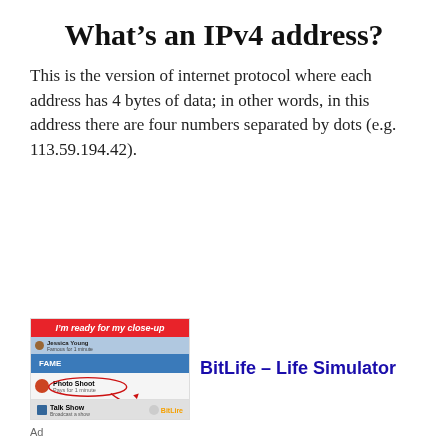What's an IPv4 address?
This is the version of internet protocol where each address has 4 bytes of data; in other words, in this address there are four numbers separated by dots (e.g. 113.59.194.42).
[Figure (screenshot): Mobile app advertisement for BitLife - Life Simulator showing a game screenshot with red banner reading 'I'm ready for my close-up', a Fame menu, Photo Shoot option circled with a red arrow, and Talk Show option with BitLife logo.]
Ad